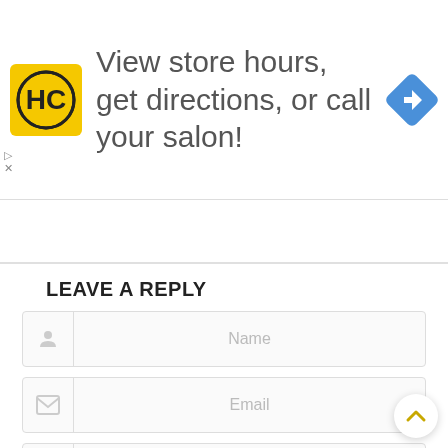[Figure (infographic): Advertisement banner: HC logo on yellow background, text 'View store hours, get directions, or call your salon!', blue diamond navigation icon on right]
[Figure (screenshot): Tab/accordion control with an up-arrow (^) chevron button]
LEAVE A REPLY
[Figure (screenshot): Web form with four input fields: Name (person icon), Email (envelope icon), Phone (phone icon), Comment (pencil icon)]